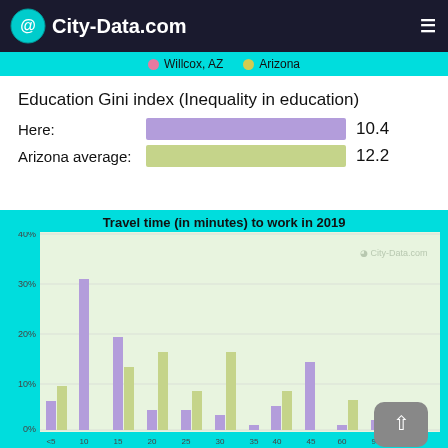City-Data.com
[Figure (other): Legend bar showing Willcox, AZ (pink dot) and Arizona (yellow-green dot)]
Education Gini index (Inequality in education)
Here: 10.4
Arizona average: 12.2
[Figure (histogram): Travel time (in minutes) to work in 2019]